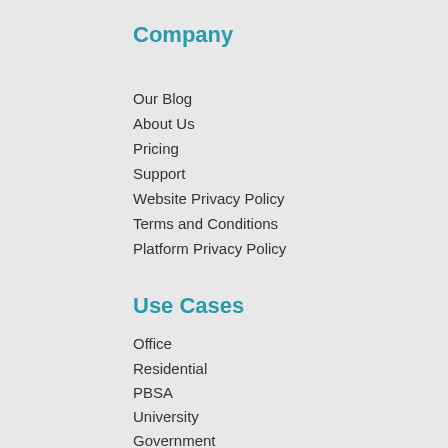Company
Our Blog
About Us
Pricing
Support
Website Privacy Policy
Terms and Conditions
Platform Privacy Policy
Use Cases
Office
Residential
PBSA
University
Government
Healthcare
Charity
Laboratory